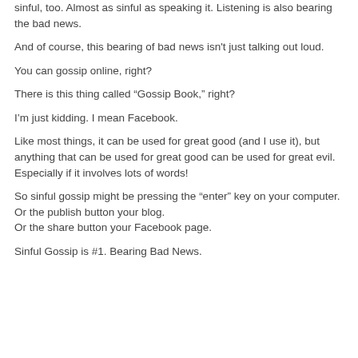sinful, too. Almost as sinful as speaking it. Listening is also bearing the bad news.
And of course, this bearing of bad news isn't just talking out loud.
You can gossip online, right?
There is this thing called “Gossip Book,” right?
I’m just kidding. I mean Facebook.
Like most things, it can be used for great good (and I use it), but anything that can be used for great good can be used for great evil.  Especially if it involves lots of words!
So sinful gossip might be pressing the “enter” key on your computer.
Or the publish button your blog.
Or the share button your Facebook page.
Sinful Gossip is #1. Bearing Bad News.